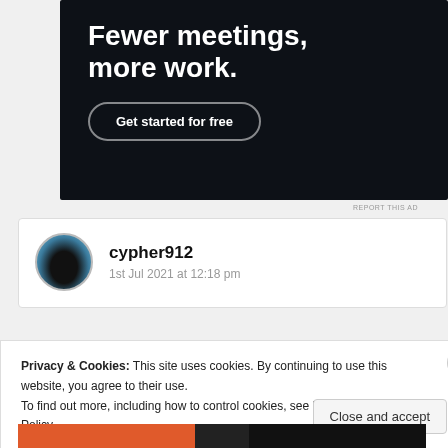[Figure (screenshot): Dark-background advertisement banner with bold white text 'Fewer meetings, more work.' and a 'Get started for free' button with rounded border]
REPORT THIS AD
cypher912
1st Jul 2021 at 12:18 pm
Privacy & Cookies: This site uses cookies. By continuing to use this website, you agree to their use.
To find out more, including how to control cookies, see here: Cookie Policy
Close and accept